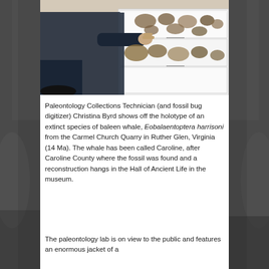[Figure (photo): Paleontology Collections Technician Christina Byrd opening a drawer showing fossil specimens of baleen whale bones at a museum collections storage facility.]
Paleontology Collections Technician (and fossil bug digitizer) Christina Byrd shows off the holotype of an extinct species of baleen whale, Eobalaentoptera harrisoni from the Carmel Church Quarry in Ruther Glen, Virginia (14 Ma). The whale has been called Caroline, after Caroline County where the fossil was found and a reconstruction hangs in the Hall of Ancient Life in the museum.
The paleontology lab is on view to the public and features an enormous jacket of a